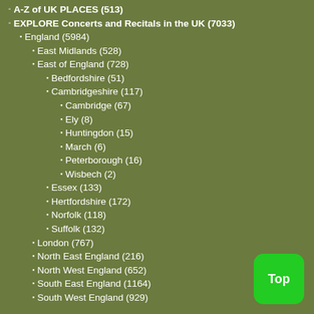A-Z of UK PLACES (513)
EXPLORE Concerts and Recitals in the UK (7033)
England (5984)
East Midlands (528)
East of England (728)
Bedfordshire (51)
Cambridgeshire (117)
Cambridge (67)
Ely (8)
Huntingdon (15)
March (6)
Peterborough (16)
Wisbech (2)
Essex (133)
Hertfordshire (172)
Norfolk (118)
Suffolk (132)
London (767)
North East England (216)
North West England (652)
South East England (1164)
South West England (929)